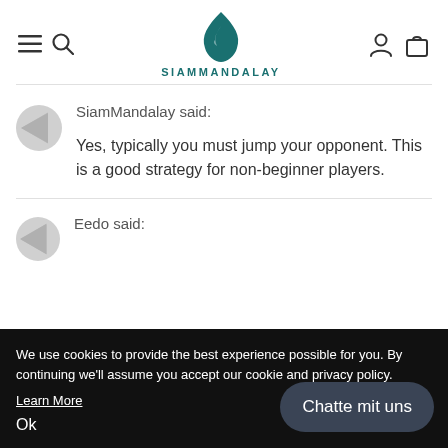SiamMandalay
SiamMandalay said:

Yes, typically you must jump your opponent. This is a good strategy for non-beginner players.
Eedo said:
We use cookies to provide the best experience possible for you. By continuing we'll assume you accept our cookie and privacy policy.
Learn More
Ok
Chatte mit uns